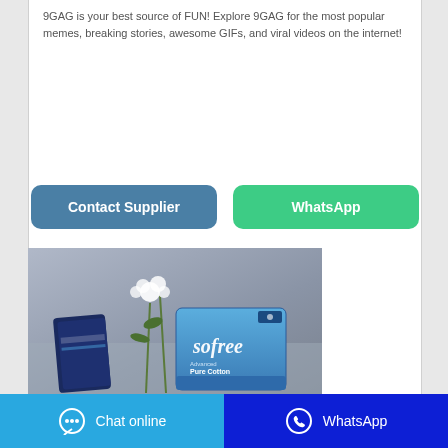9GAG is your best source of FUN! Explore 9GAG for the most popular memes, breaking stories, awesome GIFs, and viral videos on the internet!
[Figure (other): Two rounded rectangle buttons side by side: 'Contact Supplier' in steel blue and 'WhatsApp' in green]
[Figure (photo): Product photo showing Sofree Pure Cotton sanitary pad packaging with white flowers in background on grey surface]
Chat online | WhatsApp